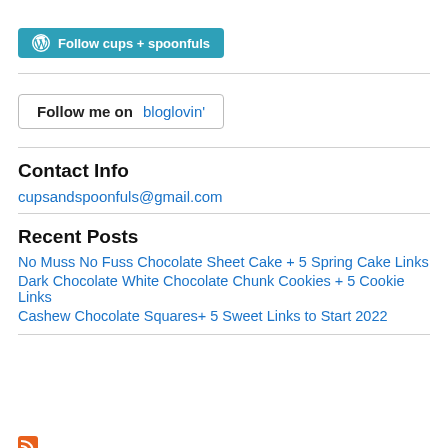[Figure (other): WordPress Follow button: 'Follow cups + spoonfuls' with WordPress logo]
[Figure (other): Bloglovin follow button: 'Follow me on bloglovin']
Contact Info
cupsandspoonfuls@gmail.com
Recent Posts
No Muss No Fuss Chocolate Sheet Cake + 5 Spring Cake Links
Dark Chocolate White Chocolate Chunk Cookies + 5 Cookie Links
Cashew Chocolate Squares+ 5 Sweet Links to Start 2022
[Figure (logo): Small orange RSS/brand icon at the bottom left]